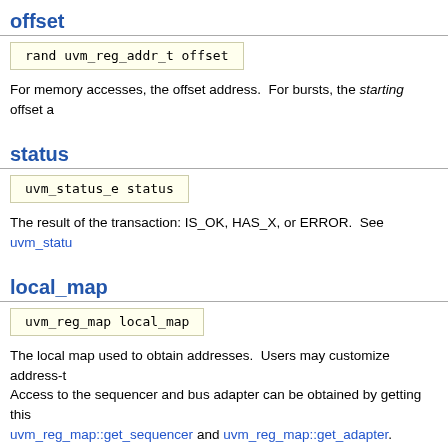offset
rand uvm_reg_addr_t offset
For memory accesses, the offset address.  For bursts, the starting offset a
status
uvm_status_e status
The result of the transaction: IS_OK, HAS_X, or ERROR.  See uvm_statu
local_map
uvm_reg_map local_map
The local map used to obtain addresses.  Users may customize address-t Access to the sequencer and bus adapter can be obtained by getting this uvm_reg_map::get_sequencer and uvm_reg_map::get_adapter.
map
uvm_reg_map map